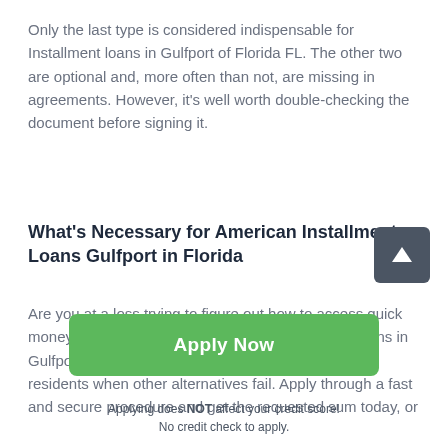Only the last type is considered indispensable for Installment loans in Gulfport of Florida FL. The other two are optional and, more often than not, are missing in agreements. However, it's well worth double-checking the document before signing it.
What's Necessary for American Installment Loans Gulfport in Florida
Are you at a loss trying to figure out how to access quick money? Open for every sort of credit, Installment loans in Gulfport of Florida lend a helping hand to Gulfport residents when other alternatives fail. Apply through a fast and secure procedure and get the requested sum today, or
Apply Now
Applying does NOT affect your credit score!
No credit check to apply.